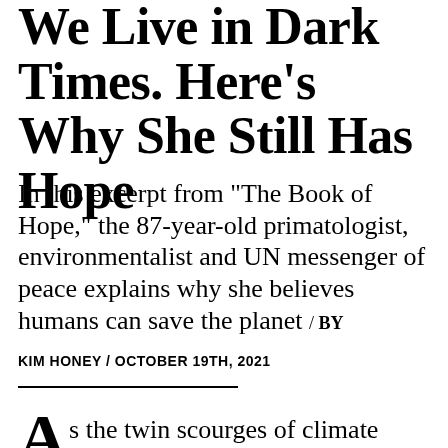We Live in Dark Times. Here's Why She Still Has Hope
In this excerpt from "The Book of Hope," the 87-year-old primatologist, environmentalist and UN messenger of peace explains why she believes humans can save the planet / BY KIM HONEY / OCTOBER 19TH, 2021
As the twin scourges of climate